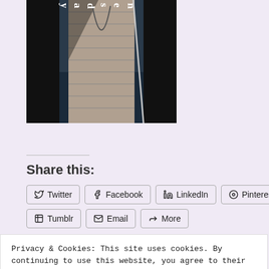[Figure (photo): A wooden dock/pier extending forward over water, photographed from above the entrance. Vertical text 'nesday' in white appears on the left side of the image.]
Share this:
Twitter  Facebook  LinkedIn  Pinterest  Tumblr  Email  More
Privacy & Cookies: This site uses cookies. By continuing to use this website, you agree to their use.
To find out more, including how to control cookies, see here: Cookie Policy
Close and accept
wednesday, prompt, quote | Permalink